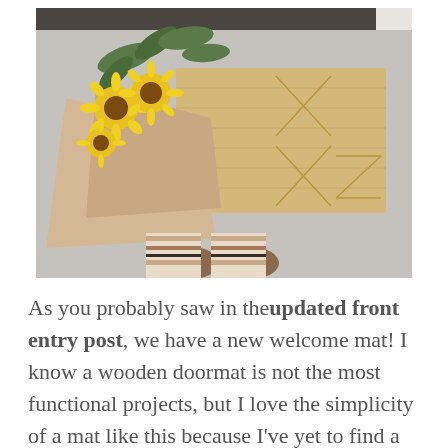[Figure (photo): Overhead shot of a wooden doormat with X-pattern engravings on a concrete step. Yellow sunflowers and eucalyptus branches in a kraft paper wrap are placed to the left side of the mat. Two brown shoes and striped pants legs visible at the bottom of the frame.]
As you probably saw in the updated front entry post, we have a new welcome mat! I know a wooden doormat is not the most functional projects, but I love the simplicity of a mat like this because I've yet to find a